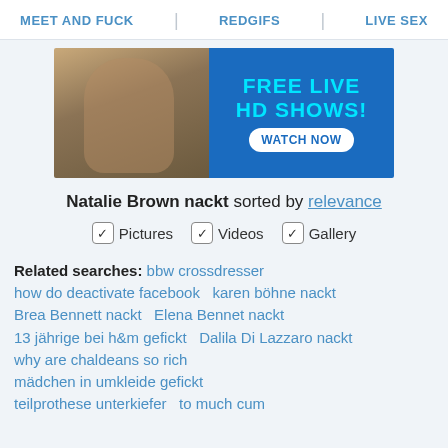MEET AND FUCK | REDGIFS | LIVE SEX
[Figure (photo): Advertisement banner showing a woman in lingerie on the left and blue background with cyan text 'FREE LIVE HD SHOWS!' and white button 'WATCH NOW' on the right]
Natalie Brown nackt sorted by relevance
✓ Pictures  ✓ Videos  ✓ Gallery
Related searches: bbw crossdresser  how do deactivate facebook  karen böhne nackt  Brea Bennett nackt  Elena Bennet nackt  13 jährige bei h&m gefickt  Dalila Di Lazzaro nackt  why are chaldeans so rich  mädchen in umkleide gefickt  teilprothese unterkiefer  to much cum